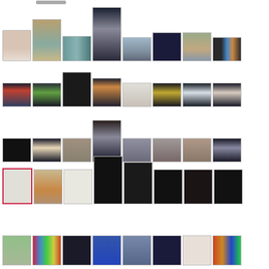[Figure (photo): Gallery/social media image grid showing multiple rows of thumbnails including portraits, artworks, event announcements, gallery installation shots, and artwork photos. Row 1: portrait of woman, draped fabric sculpture, abstract horizontal painting, ghostly figure painting, landscape with clouds, event flyer, outdoor portrait, colorful vertical artwork. Row 2: video stills of bird/nature art, dark poster/event flyer, gallery installation, mandala artwork, golden artwork screen, fountain screen, person holding white paper. Row 3: white dot pattern on black, butterfly/texture screen, people in gallery, large figure painting in gallery, audience at presentation, gallery wall with people, gallery opening crowd, gallery video screen. Row 4: exhibiting artists text card, gallery installation photo, dotted figure drawing, skeleton x-ray style artwork, bird on black, geometric black art, ornate face artwork, eye/owl artwork. Row 5 (partial): glass texture, colored stripes, event flyer, blue event poster, graduation portrait, Sunday open studios event, social media post, colorful event image.]